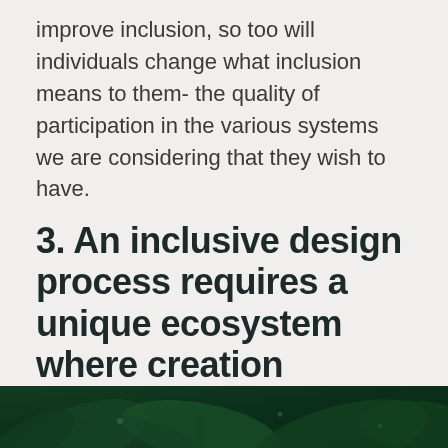improve inclusion, so too will individuals change what inclusion means to them- the quality of participation in the various systems we are considering that they wish to have.
3. An inclusive design process requires a unique ecosystem where creation occurs.
[Figure (photo): Dark green photograph of leaves/foliage, partially visible at the bottom of the page]